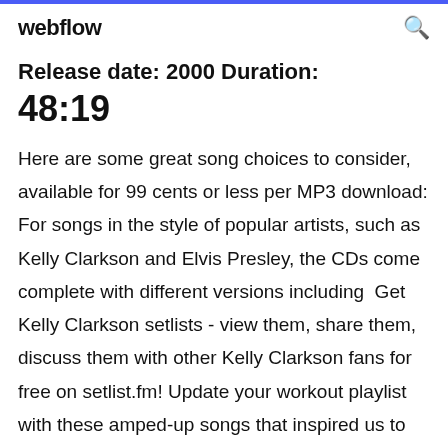webflow
Release date: 2000 Duration: 48:19
Here are some great song choices to consider, available for 99 cents or less per MP3 download: For songs in the style of popular artists, such as Kelly Clarkson and Elvis Presley, the CDs come complete with different versions including  Get Kelly Clarkson setlists - view them, share them, discuss them with other Kelly Clarkson fans for free on setlist.fm! Update your workout playlist with these amped-up songs that inspired us to sweat this year. Download it now: With its pumping rhythm and inspiring lyrics, this remix of Rihanna's chart-